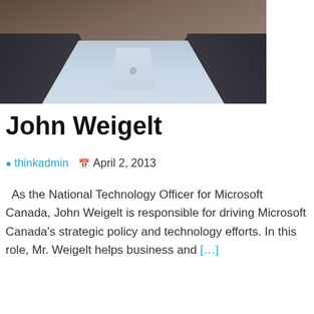[Figure (photo): Cropped photo of John Weigelt showing his torso and lower face, wearing a dark jacket over a light blue button-down shirt]
John Weigelt
thinkadmin   April 2, 2013
As the National Technology Officer for Microsoft Canada, John Weigelt is responsible for driving Microsoft Canada's strategic policy and technology efforts. In this role, Mr. Weigelt helps business and […]